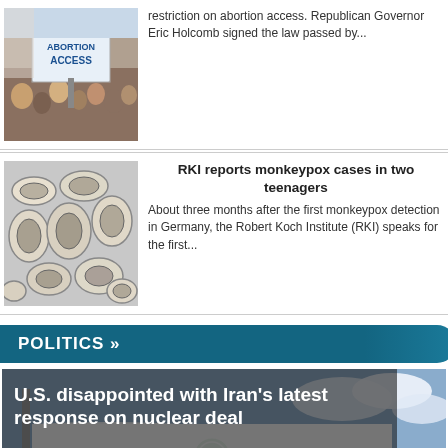[Figure (photo): Protest photo with sign saying PROTECT ABORTION ACCESS]
restriction on abortion access. Republican Governor Eric Holcomb signed the law passed by...
[Figure (photo): Microscopic monkeypox virus cells in black and white]
RKI reports monkeypox cases in two teenagers
About three months after the first monkeypox detection in Germany, the Robert Koch Institute (RKI) speaks for the first...
POLITICS »
[Figure (photo): Iranian flag waving, overlaid with headline text]
U.S. disappointed with Iran's latest response on nuclear deal